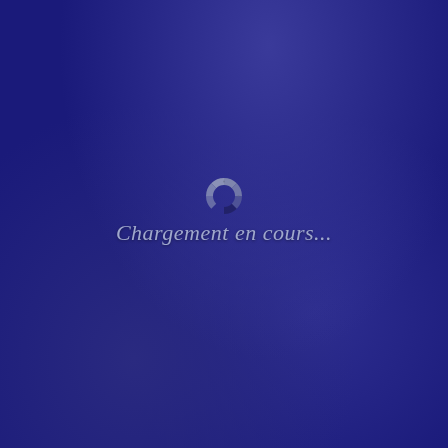[Figure (illustration): Loading screen with dark navy blue gradient background, a circular spinner icon in gray, and the French text 'Chargement en cours...' below it]
Chargement en cours...